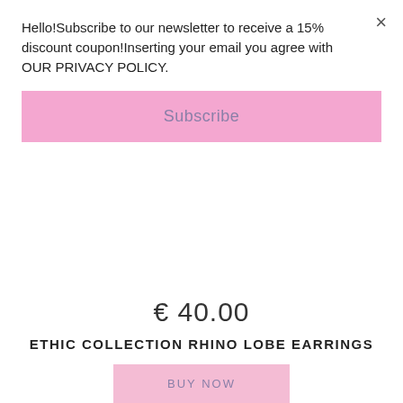Hello!Subscribe to our newsletter to receive a 15% discount coupon!Inserting your email you agree with OUR PRIVACY POLICY.
Subscribe
€ 40.00
ETHIC COLLECTION RHINO LOBE EARRINGS
BUY NOW